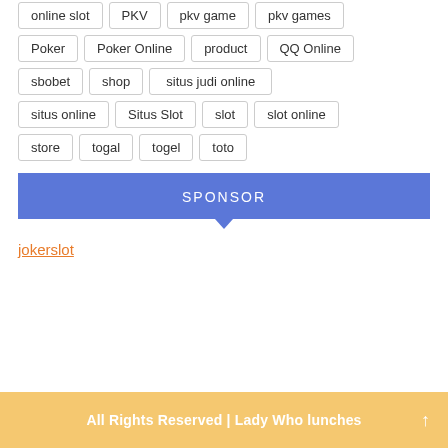online slot
PKV
pkv game
pkv games
Poker
Poker Online
product
QQ Online
sbobet
shop
situs judi online
situs online
Situs Slot
slot
slot online
store
togal
togel
toto
SPONSOR
jokerslot
All Rights Reserved | Lady Who lunches